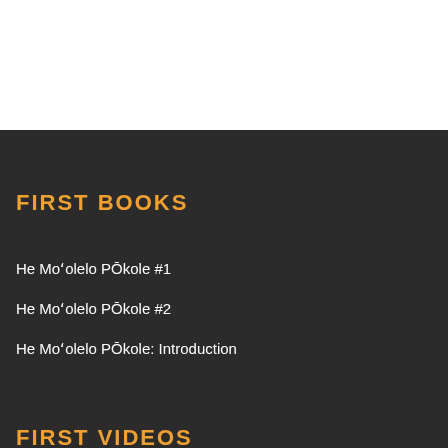FIRST BOOKS
He Moʻolelo Pŋkole #1
He Moʻolelo Pŋkole #2
He Moʻolelo Pŋkole: Introduction
FIRST VIDEOS
Pronunciation #2: Macrons